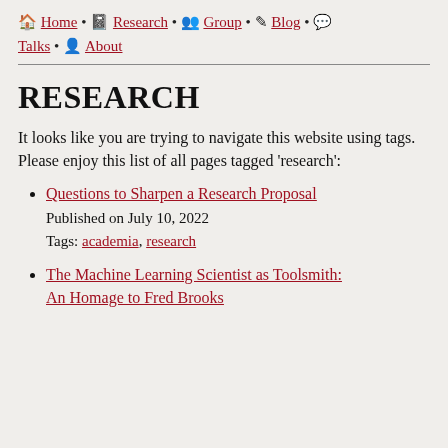🏠 Home • 📋 Research • 👥 Group • ✏️ Blog • 💬 Talks • 👤 About
RESEARCH
It looks like you are trying to navigate this website using tags. Please enjoy this list of all pages tagged 'research':
Questions to Sharpen a Research Proposal
Published on July 10, 2022
Tags: academia, research
The Machine Learning Scientist as Toolsmith: An Homage to Fred Brooks